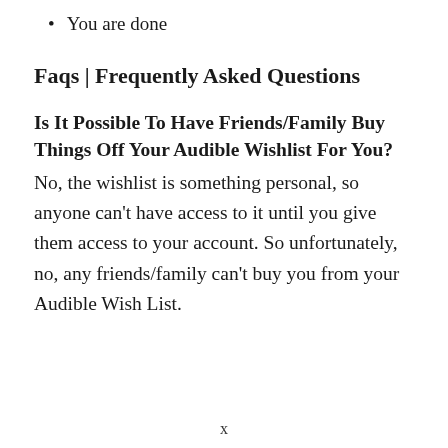You are done
Faqs | Frequently Asked Questions
Is It Possible To Have Friends/Family Buy Things Off Your Audible Wishlist For You?
No, the wishlist is something personal, so anyone can't have access to it until you give them access to your account. So unfortunately, no, any friends/family can't buy you from your Audible Wish List.
x